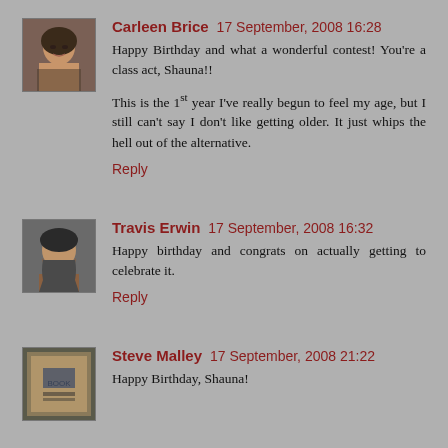[Figure (photo): Avatar photo of Carleen Brice, a woman with glasses]
Carleen Brice 17 September, 2008 16:28
Happy Birthday and what a wonderful contest! You're a class act, Shauna!!

This is the 1st year I've really begun to feel my age, but I still can't say I don't like getting older. It just whips the hell out of the alternative.
Reply
[Figure (photo): Avatar photo of Travis Erwin, a bearded man]
Travis Erwin 17 September, 2008 16:32
Happy birthday and congrats on actually getting to celebrate it.
Reply
[Figure (photo): Avatar photo of Steve Malley, appears to be a book cover]
Steve Malley 17 September, 2008 21:22
Happy Birthday, Shauna!